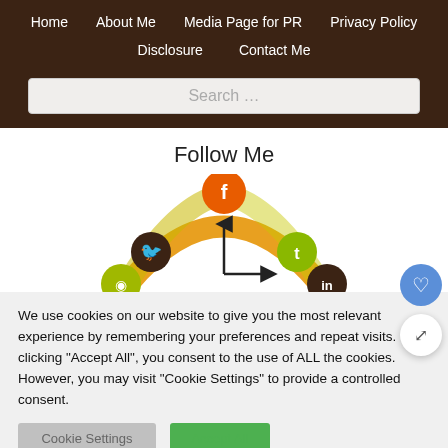Home | About Me | Media Page for PR | Privacy Policy | Disclosure | Contact Me
Search …
Follow Me
[Figure (illustration): Semi-circular arc graphic with social media icons (Facebook, Twitter, Tumblr, RSS, LinkedIn) arranged along an orange/yellow arc, with an arrow axis in the center]
We use cookies on our website to give you the most relevant experience by remembering your preferences and repeat visits. By clicking "Accept All", you consent to the use of ALL the cookies. However, you may visit "Cookie Settings" to provide a controlled consent.
Cookie Settings | Accept All